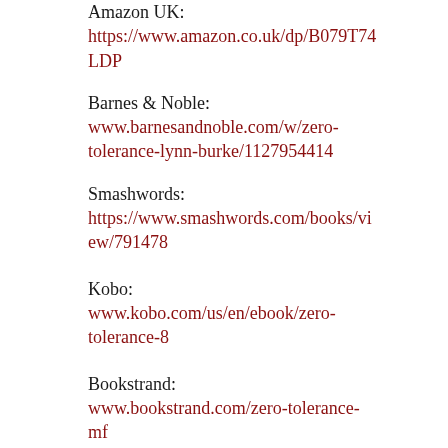Amazon UK:
https://www.amazon.co.uk/dp/B079T74LDP
Barnes & Noble:
www.barnesandnoble.com/w/zero-tolerance-lynn-burke/1127954414
Smashwords:
https://www.smashwords.com/books/view/791478
Kobo:
www.kobo.com/us/en/ebook/zero-tolerance-8
Bookstrand:
www.bookstrand.com/zero-tolerance-mf